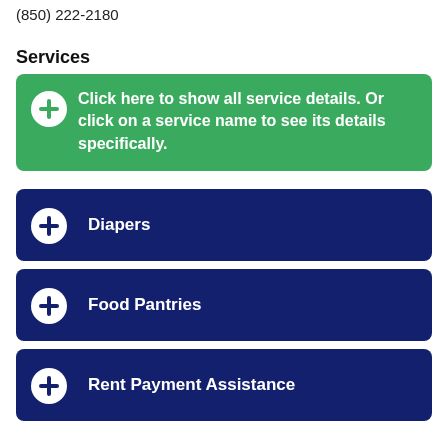(850) 222-2180
Services
Click here to show all service details. Or click on a service name to see its details specifically.
Diapers
Food Pantries
Rent Payment Assistance